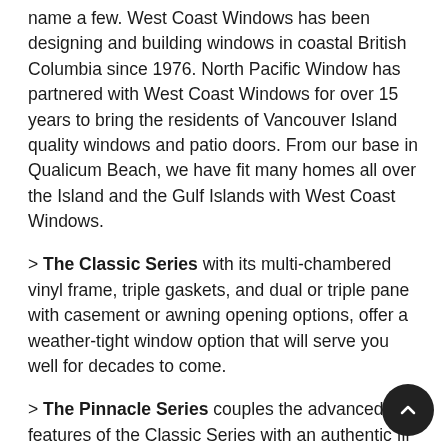name a few. West Coast Windows has been designing and building windows in coastal British Columbia since 1976. North Pacific Window has partnered with West Coast Windows for over 15 years to bring the residents of Vancouver Island quality windows and patio doors. From our base in Qualicum Beach, we have fit many homes all over the Island and the Gulf Islands with West Coast Windows.
> The Classic Series with its multi-chambered vinyl frame, triple gaskets, and dual or triple pane with casement or awning opening options, offer a weather-tight window option that will serve you well for decades to come.
> The Pinnacle Series couples the advanced features of the Classic Series with an authentic fir interior. Imagine the beautiful interior of wood windows without the exterior